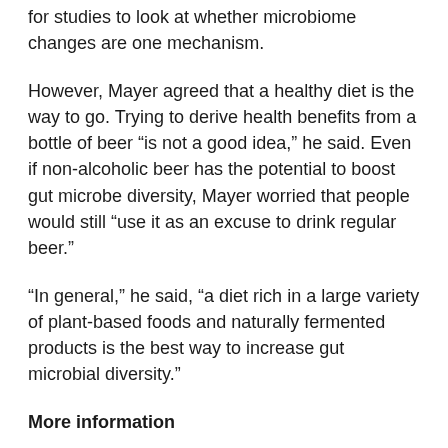for studies to look at whether microbiome changes are one mechanism.
However, Mayer agreed that a healthy diet is the way to go. Trying to derive health benefits from a bottle of beer “is not a good idea,” he said. Even if non-alcoholic beer has the potential to boost gut microbe diversity, Mayer worried that people would still “use it as an excuse to drink regular beer.”
“In general,” he said, “a diet rich in a large variety of plant-based foods and naturally fermented products is the best way to increase gut microbial diversity.”
More information
Harvard School of Public Health has more on diet and the gut microbiome.